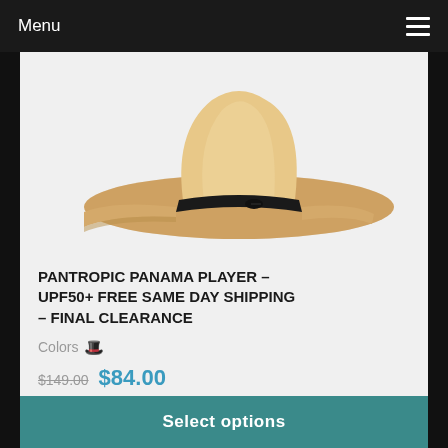Menu
[Figure (photo): Panama hat with black band, straw colored, wide brim, on white/grey background]
PANTROPIC PANAMA PLAYER – UPF50+ FREE SAME DAY SHIPPING – FINAL CLEARANCE
Colors 🎩
$149.00 $84.00
Brands: Pantropic
Select options